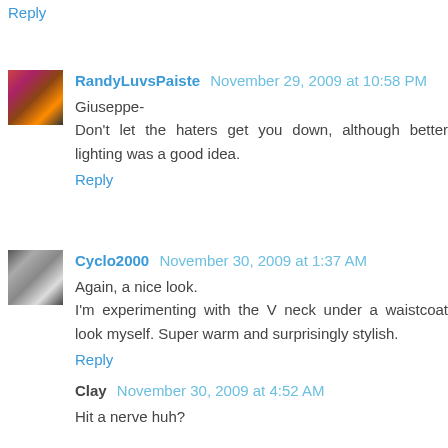Reply
RandyLuvsPaiste  November 29, 2009 at 10:58 PM
Giuseppe-
Don't let the haters get you down, although better lighting was a good idea.
Reply
Cyclo2000  November 30, 2009 at 1:37 AM
Again, a nice look.
I'm experimenting with the V neck under a waistcoat look myself. Super warm and surprisingly stylish.
Reply
Clay  November 30, 2009 at 4:52 AM
Hit a nerve huh?